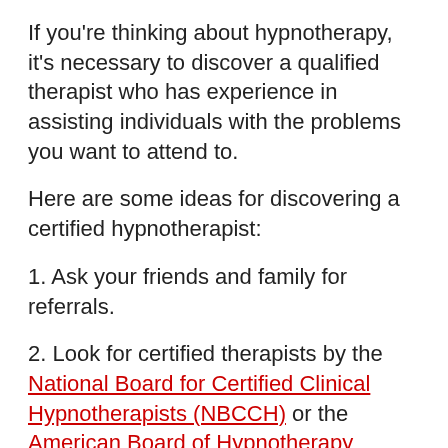If you're thinking about hypnotherapy, it's necessary to discover a qualified therapist who has experience in assisting individuals with the problems you want to attend to.
Here are some ideas for discovering a certified hypnotherapist:
1. Ask your friends and family for referrals.
2. Look for certified therapists by the National Board for Certified Clinical Hypnotherapists (NBCCH) or the American Board of Hypnotherapy (ABH).
3. Examine the therapist's site or LinkedIn profile to see if they have any accreditations